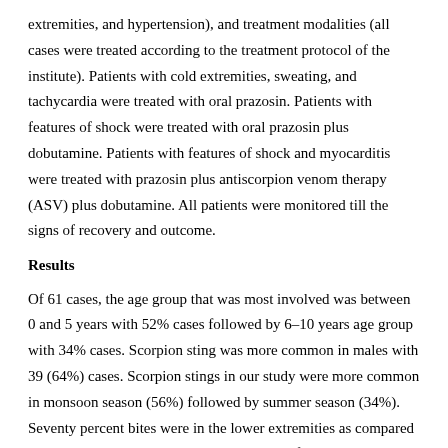extremities, and hypertension), and treatment modalities (all cases were treated according to the treatment protocol of the institute). Patients with cold extremities, sweating, and tachycardia were treated with oral prazosin. Patients with features of shock were treated with oral prazosin plus dobutamine. Patients with features of shock and myocarditis were treated with prazosin plus antiscorpion venom therapy (ASV) plus dobutamine. All patients were monitored till the signs of recovery and outcome.
Results
Of 61 cases, the age group that was most involved was between 0 and 5 years with 52% cases followed by 6–10 years age group with 34% cases. Scorpion sting was more common in males with 39 (64%) cases. Scorpion stings in our study were more common in monsoon season (56%) followed by summer season (34%). Seventy percent bites were in the lower extremities as compared to the upper extremities. In our study, 75% of the scorpion stings were during night time.
The signs and symptoms further revealed that pain was the most common symptom and was present in 93% of the cases, followed by cold extremities with